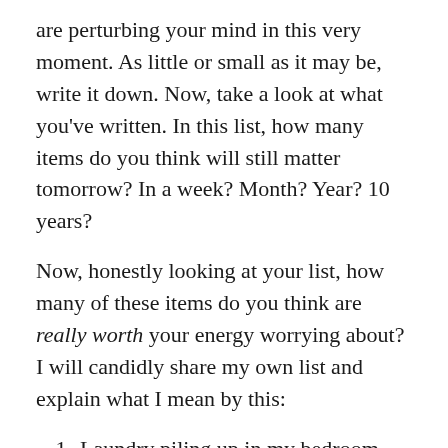are perturbing your mind in this very moment. As little or small as it may be, write it down. Now, take a look at what you've written. In this list, how many items do you think will still matter tomorrow? In a week? Month? Year? 10 years?
Now, honestly looking at your list, how many of these items do you think are really worth your energy worrying about? I will candidly share my own list and explain what I mean by this:
Laundry piling up in my bedroom
LSAT studying
A very weird date happening next to me at Pavement Coffeehouse
Cold sore on my lip
Comforting my grandmother in her time of need